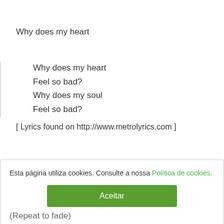Why does my heart
Why does my heart
Feel so bad?
Why does my soul
Feel so bad?
[ Lyrics found on http://www.metrolyrics.com ]
Esta página utiliza cookies. Consulte a nossa Política de cookies.
Aceitar
(Repeat to fade)